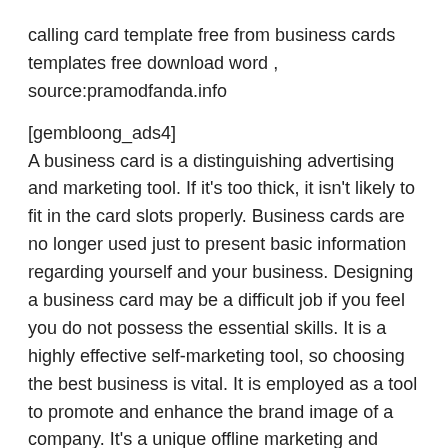calling card template free from business cards templates free download word , source:pramodfanda.info
[gembloong_ads4]
A business card is a distinguishing advertising and marketing tool. If it's too thick, it isn't likely to fit in the card slots properly. Business cards are no longer used just to present basic information regarding yourself and your business. Designing a business card may be a difficult job if you feel you do not possess the essential skills. It is a highly effective self-marketing tool, so choosing the best business is vital. It is employed as a tool to promote and enhance the brand image of a company. It's a unique offline marketing and advertising tool utilized effectively and efficiently for the purpose of brand marketing. It's a ready reckoner for anybody who